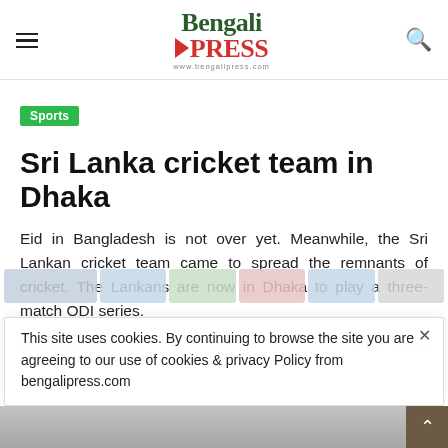Bengali PRESS — www.bengalipress.com
Sports
Sri Lanka cricket team in Dhaka
Eid in Bangladesh is not over yet. Meanwhile, the Sri Lankan cricket team came to spread the remnants of cricket. The Lankans are now in Dhaka to play a three-match ODI series.
May 16, 2021 - 23:41   0  459
Updated: May 16, 2021 - 23:45
This site uses cookies. By continuing to browse the site you are agreeing to our use of cookies & privacy Policy from bengalipress.com